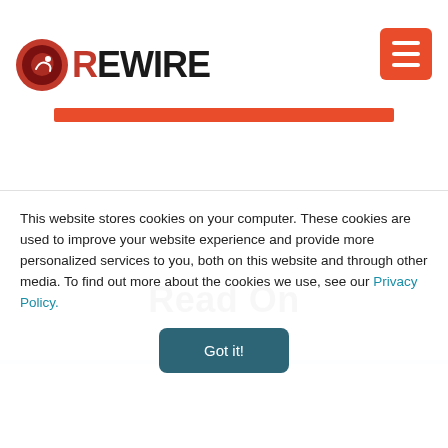[Figure (logo): Rewire logo with chameleon icon on the left and REWIRE text in dark red/black]
[Figure (other): Orange horizontal bar below the logo]
Read On
This website stores cookies on your computer. These cookies are used to improve your website experience and provide more personalized services to you, both on this website and through other media. To find out more about the cookies we use, see our Privacy Policy.
Got it!